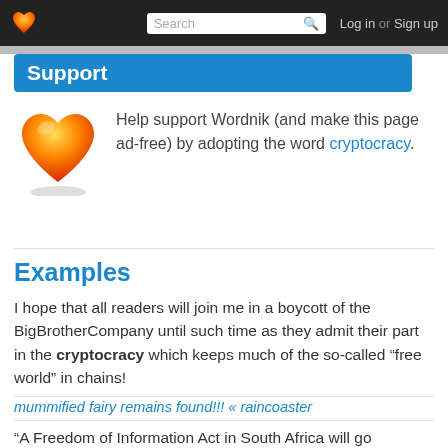Log in or Sign up
Support
Help support Wordnik (and make this page ad-free) by adopting the word cryptocracy.
Examples
I hope that all readers will join me in a boycott of the BigBrotherCompany until such time as they admit their part in the cryptocracy which keeps much of the so-called “free world” in chains!
mummified fairy remains found!!! « raincoaster
"A Freedom of Information Act in South Africa will go